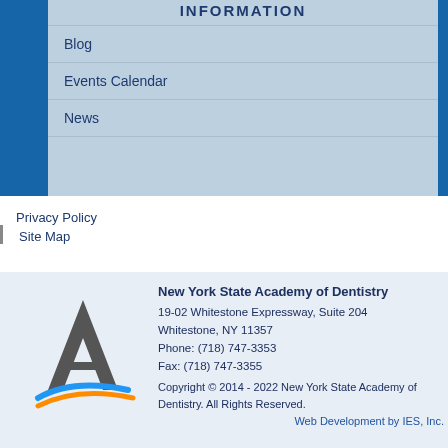INFORMATION
Blog
Events Calendar
News
Privacy Policy
Site Map
[Figure (logo): New York State Academy of Dentistry logo — stylized letter A with blue and orange swooshes]
New York State Academy of Dentistry
19-02 Whitestone Expressway, Suite 204
Whitestone, NY 11357
Phone: (718) 747-3353
Fax: (718) 747-3355
Copyright © 2014 - 2022 New York State Academy of Dentistry. All Rights Reserved.
Web Development by IES, Inc.